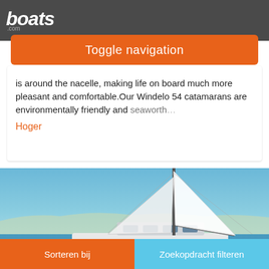boats.com
Toggle navigation
is around the nacelle, making life on board much more pleasant and comfortable.Our Windelo 54 catamarans are environmentally friendly and seaworth…
Hoger
[Figure (photo): A white catamaran sailboat with tall mast and sails, sailing on blue water with a coastline in the background. Photo count badge shows 11, video count badge shows 2.]
Sorteren bij   Zoekopdracht filteren